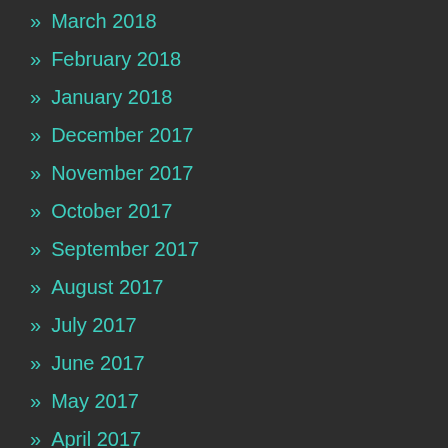» March 2018
» February 2018
» January 2018
» December 2017
» November 2017
» October 2017
» September 2017
» August 2017
» July 2017
» June 2017
» May 2017
» April 2017
» March 2017
» February 2017
» January 2017